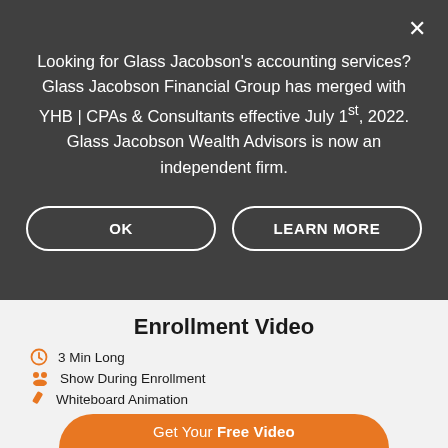Looking for Glass Jacobson's accounting services? Glass Jacobson Financial Group has merged with YHB | CPAs & Consultants effective July 1st, 2022. Glass Jacobson Wealth Advisors is now an independent firm.
OK
LEARN MORE
Enrollment Video
3 Min Long
Show During Enrollment
Whiteboard Animation
Increase Enrollments
Get Your Free Video